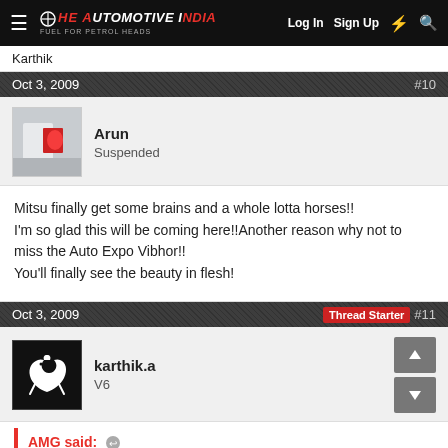The Automotive India — Log In  Sign Up
Karthik
Oct 3, 2009   #10
Arun
Suspended
Mitsu finally get some brains and a whole lotta horses!!
I'm so glad this will be coming here!!Another reason why not to miss the Auto Expo Vibhor!!
You'll finally see the beauty in flesh!
Oct 3, 2009   Thread Starter  #11
karthik.a
V6
AMG said: